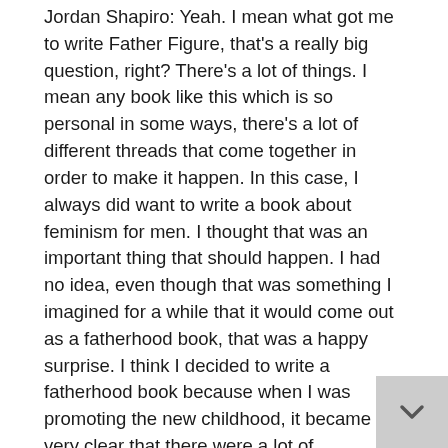Jordan Shapiro: Yeah. I mean what got me to write Father Figure, that's a really big question, right? There's a lot of things. I mean any book like this which is so personal in some ways, there's a lot of different threads that come together in order to make it happen. In this case, I always did want to write a book about feminism for men. I thought that was an important thing that should happen. I had no idea, even though that was something I imagined for a while that it would come out as a fatherhood book, that was a happy surprise. I think I decided to write a fatherhood book because when I was promoting the new childhood, it became very clear that there were a lot of presumptions about what it meant to be a father that made me uncomfortable. I'll give you an example. Most of the people who write about parenting who are men, you're supposed to do it as like a doctor or a psychiatrist and you don't talk about your own family, you keep this nonsense distance where you pretend that